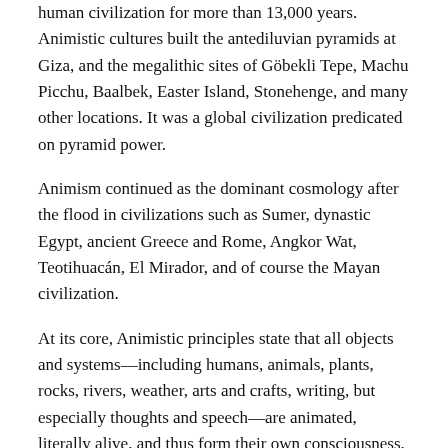human civilization for more than 13,000 years. Animistic cultures built the antediluvian pyramids at Giza, and the megalithic sites of Göbekli Tepe, Machu Picchu, Baalbek, Easter Island, Stonehenge, and many other locations. It was a global civilization predicated on pyramid power.
Animism continued as the dominant cosmology after the flood in civilizations such as Sumer, dynastic Egypt, ancient Greece and Rome, Angkor Wat, Teotihuacán, El Mirador, and of course the Mayan civilization.
At its core, Animistic principles state that all objects and systems—including humans, animals, plants, rocks, rivers, weather, arts and crafts, writing, but especially thoughts and speech—are animated, literally alive, and thus form their own consciousness. Therefore, these aspects must not be unnaturally manipulated, twisted, or exploited out of respect for their inherent consciousness.
This is an enlightened concept.